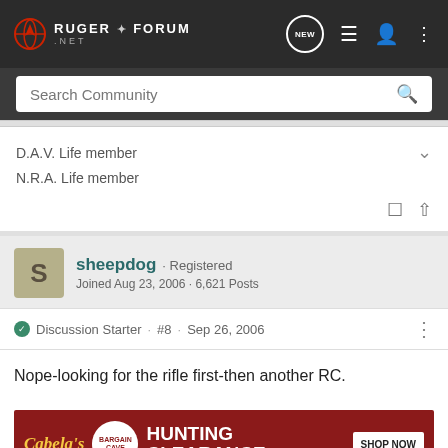Ruger Forum .net
Search Community
D.A.V. Life member
N.R.A. Life member
sheepdog · Registered
Joined Aug 23, 2006 · 6,621 Posts
Discussion Starter · #8 · Sep 26, 2006
Nope-looking for the rifle first-then another RC.
[Figure (screenshot): Cabela's Bargain Cave Hunting Clearance advertisement banner with SHOP NOW button]